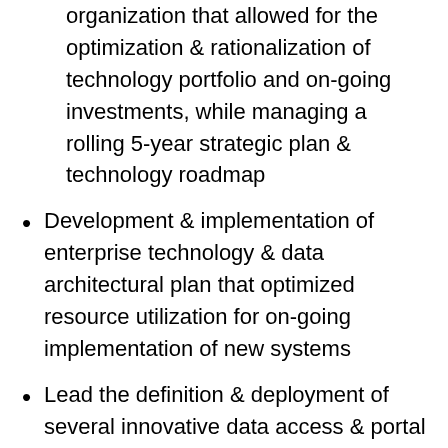organization that allowed for the optimization & rationalization of technology portfolio and on-going investments, while managing a rolling 5-year strategic plan & technology roadmap
Development & implementation of enterprise technology & data architectural plan that optimized resource utilization for on-going implementation of new systems
Lead the definition & deployment of several innovative data access & portal technology solutions which improved information access & business efficiencies and was recognized by